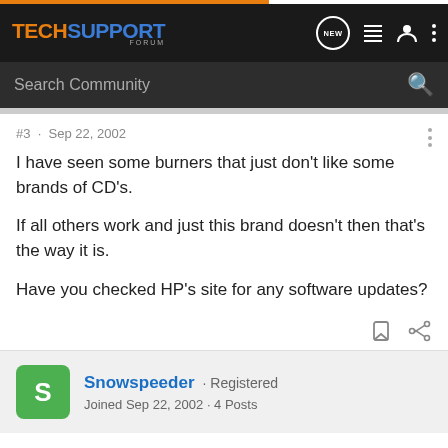TECHSUPPORT FORUM
Search Community
#3 · Sep 22, 2002
I have seen some burners that just don't like some brands of CD's.

If all others work and just this brand doesn't then that's the way it is.

Have you checked HP's site for any software updates?
Snowspeeder · Registered
Joined Sep 22, 2002 · 4 Posts